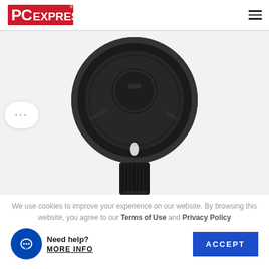PC EXPRESS - navigation header with logo and hamburger menu
[Figure (photo): Close-up product photo of a black circular wireless charger or smart home device with textured cylindrical base, shot from above on white background]
We use cookies to improve your experience on our website. By browsing this website, you agree to our Terms of Use and Privacy Policy
Need help?
MORE INFO
ACCEPT